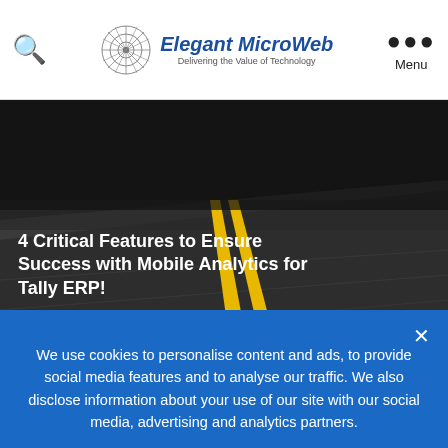Elegant MicroWeb — Delivering the Value of Technology
[Figure (screenshot): Hero image of a road with yellow center lines, dark asphalt, perspective shot]
4 Critical Features to Ensure Success with Mobile Analytics for Tally ERP!
Home > Blog > 4 Critical Features to E...
The Tally ERP Solution is very popular with business
We use cookies to personalise content and ads, to provide social media features and to analyse our traffic. We also disclose information about your use of our site with our social media, advertising and analytics partners.